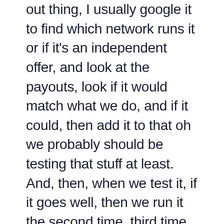out thing, I usually google it to find which network runs it or if it's an independent offer, and look at the payouts, look if it would match what we do, and if it could, then add it to that oh we probably should be testing that stuff at least. And, then, when we test it, if it goes well, then we run it the second time, third time etc and eventually they make it to the least of our confirmed offers that do well. And the same way, you know, as there are new offers that come in and do well, offers that you've been running for a long time will also stop working. I think that is happening on Health Ambition Mark, right, some offers that we run too many times end up not working anymore.